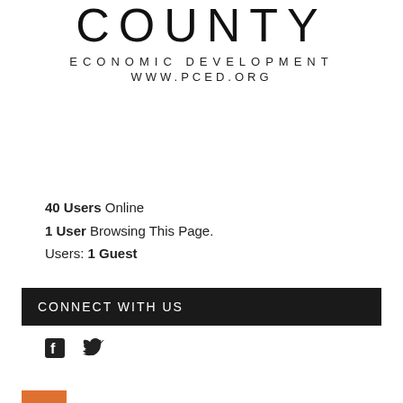COUNTY
ECONOMIC DEVELOPMENT
WWW.PCED.ORG
40 Users Online
1 User Browsing This Page.
Users: 1 Guest
CONNECT WITH US
[Figure (illustration): Facebook and Twitter social media icons]
[Figure (illustration): Orange strip at bottom left corner]